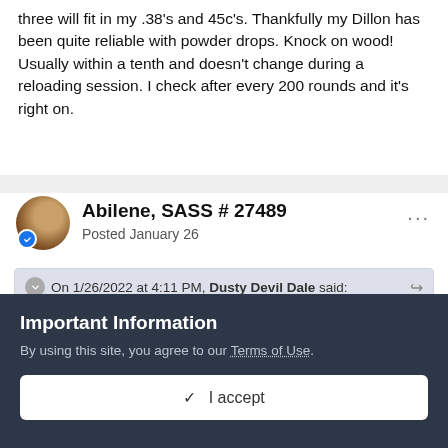three will fit in my .38's and 45c's. Thankfully my Dillon has been quite reliable with powder drops. Knock on wood! Usually within a tenth and doesn't change during a reloading session. I check after every 200 rounds and it's right on.
Abilene, SASS # 27489
Posted January 26
On 1/26/2022 at 4:11 PM, Dusty Devil Dale said:
What he said X 1000
If double charging is a worry, there are safeguards like a Dillon Powder Check Die --and visual inspection-- that
Important Information
By using this site, you agree to our Terms of Use.
✓  I accept